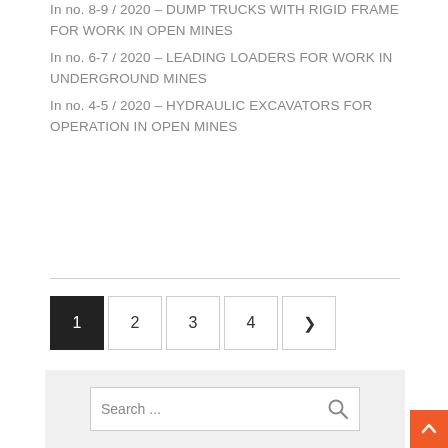In no. 8-9 / 2020 – DUMP TRUCKS WITH RIGID FRAME FOR WORK IN OPEN MINES
In no. 6-7 / 2020 – LEADING LOADERS FOR WORK IN UNDERGROUND MINES
In no. 4-5 / 2020 – HYDRAULIC EXCAVATORS FOR OPERATION IN OPEN MINES
[Figure (other): Pagination navigation with page buttons 1 (active/black), 2, 3, 4, and a next arrow button]
[Figure (other): Search box area with gray background, white input field showing 'Search ...' placeholder text and a magnifying glass icon]
[Figure (other): Back to top arrow button in orange on the bottom right corner]